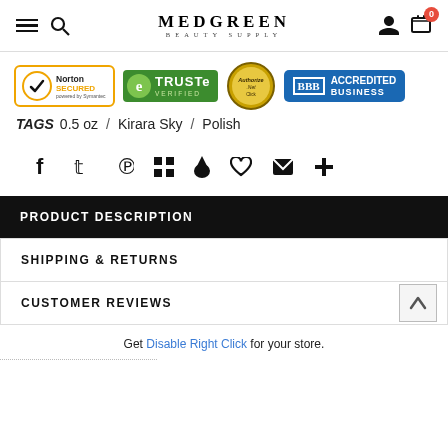MEDGREEN BEAUTY SUPPLY
[Figure (logo): Trust badges row: Norton Secured powered by Symantec, TRUSTe Verified, Authorize.Net Click, BBB Accredited Business]
TAGS  0.5 oz  /  Kirara Sky  /  Polish
[Figure (infographic): Social sharing icons: Facebook, Twitter, Pinterest, Grid, Fancy, Heart, Email, Plus]
PRODUCT DESCRIPTION
SHIPPING & RETURNS
CUSTOMER REVIEWS
Get Disable Right Click for your store.